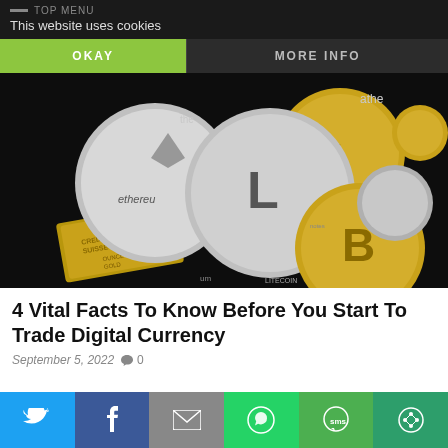TOP MENU
This website uses cookies
OKAY | MORE INFO
[Figure (photo): Various cryptocurrency coins including Ethereum, Litecoin, Bitcoin, and Ripple, along with a gold bar, arranged on a dark background]
4 Vital Facts To Know Before You Start To Trade Digital Currency
September 5, 2022  0